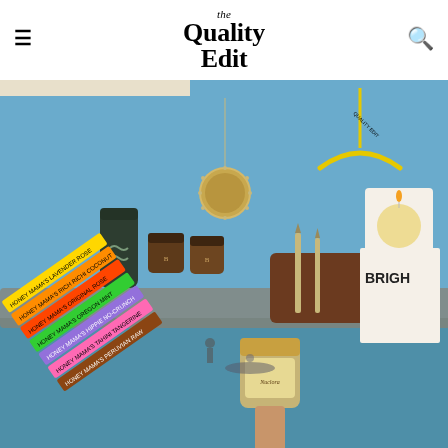the Quality Edit
[Figure (photo): Collage of lifestyle products against a blue sky and ocean background: a gold medallion necklace, dark green cylindrical canister with two brown jars, a wooden cutting board with two knives, a lit candle in a white vessel with yellow circle design inside a white box labeled BRIGHT, a yellow clothing hanger, colorful stacked candy/chocolate bars with various flavors (Honey Mama's brand: Lavender Rose, Rich Richi Coconut, Original Rose, Oregon Mint, Hippie No-Crunch, Tahini Tangerine, Peruvian Raw), a hand holding a jar of Nuclora honey product, and distant figures in water with a kayak.]